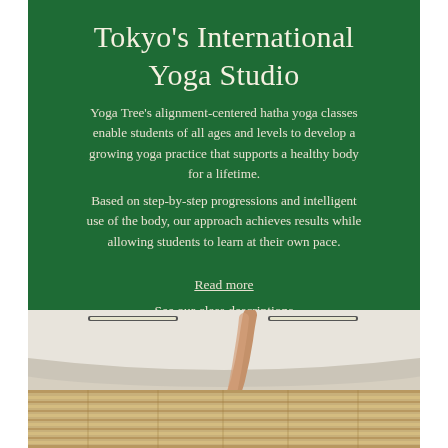Tokyo's International Yoga Studio
Yoga Tree's alignment-centered hatha yoga classes enable students of all ages and levels to develop a growing yoga practice that supports a healthy body for a lifetime.
Based on step-by-step progressions and intelligent use of the body, our approach achieves results while allowing students to learn at their own pace.
Read more
See our class descriptions
[Figure (photo): Interior photo of a yoga studio showing a person's arm/leg reaching up near the ceiling, with wooden venetian blinds in the foreground and recessed ceiling lights visible.]